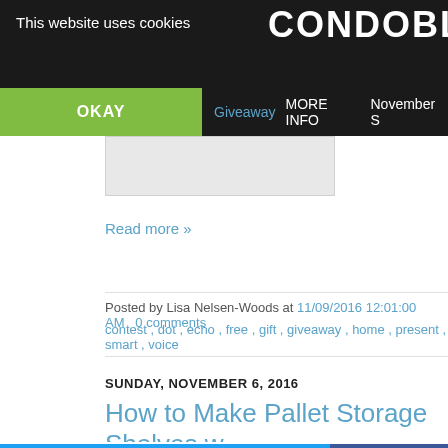This website uses cookies | CONDOBLUE
OKAY | Giveaway | MORE INFO | November S
[Figure (screenshot): Gray image placeholder area]
Read more »
Posted by Lisa Nelsen-Woods at 11/09/2016 12:01:00 AM   0 comments
contest , dot , echo , free , gift , giveaway , home , present , smart , voice
SUNDAY, NOVEMBER 6, 2016
How to Make Pallet Storage Shelves w
[Figure (screenshot): Social share buttons grid: Twitter (blue), Facebook (dark blue), Email (gray), WhatsApp (green), SMS (blue), other (green) with partial text visible on right side]